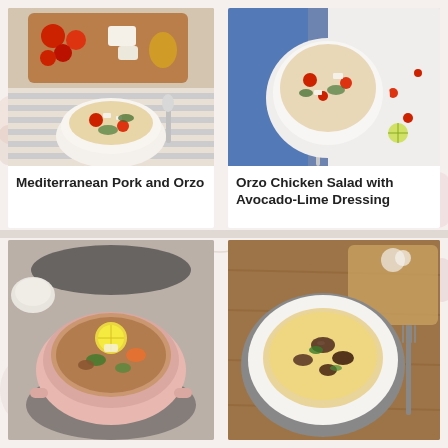[Figure (photo): Food photo of Mediterranean Pork and Orzo in a white bowl with tomatoes, feta cheese, and spinach, with a wooden tray of ingredients above]
Mediterranean Pork and Orzo
[Figure (photo): Food photo of Orzo Chicken Salad with Avocado-Lime Dressing in a white bowl with tomatoes, lime slices, and fresh herbs on a white surface]
Orzo Chicken Salad with Avocado-Lime Dressing
[Figure (photo): Food photo of a soup with vegetables, lemon slice on top, mushrooms, carrots in a pink ceramic bowl]
[Figure (photo): Food photo of orzo or risotto with mushrooms and herbs in a white plate with a gray rim on a wooden surface with fork]